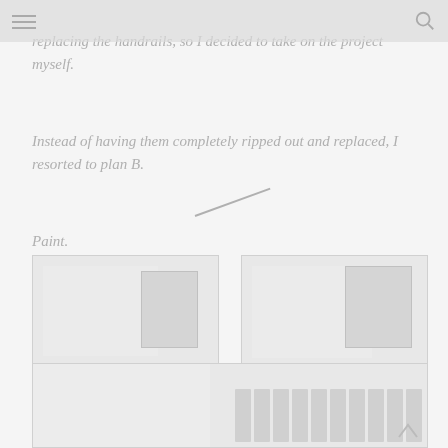replacing the handrails, so I decided to take on the project myself.
Instead of having them completely ripped out and replaced, I resorted to plan B.
Paint.
[Figure (photo): Top-left photo showing a white paint can or container with label details visible]
[Figure (photo): Top-right photo showing a staircase handrail area with white paint applied]
[Figure (photo): Large bottom photo showing painted white stair spindles/balusters on a staircase]